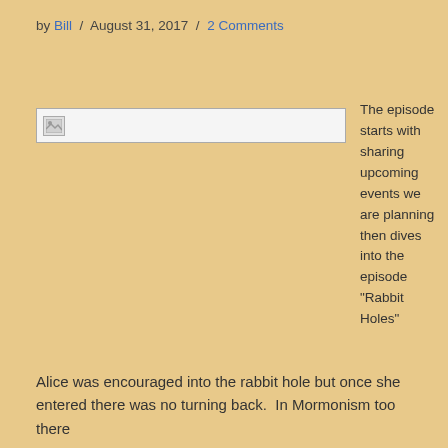by Bill / August 31, 2017 / 2 Comments
[Figure (photo): Broken/placeholder image thumbnail]
The episode starts with sharing upcoming events we are planning then dives into the episode “Rabbit Holes”
Alice was encouraged into the rabbit hole but once she entered there was no turning back.  In Mormonism too there